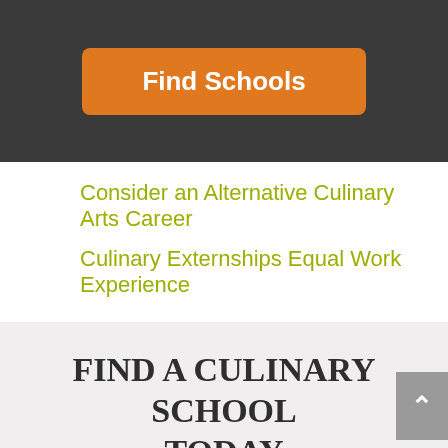[Figure (screenshot): Orange 'Find Schools' button on dark background]
Consider an Alternative Culinary Arts Career
Culinary Externships Equal Work Experience
FIND A CULINARY SCHOOL TODAY
Tell us a little about yourself and we'll connect you with schools that offer culinary arts programs.